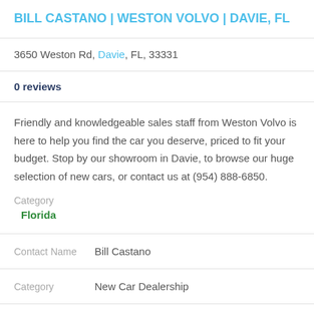BILL CASTANO | WESTON VOLVO | DAVIE, FL
3650 Weston Rd, Davie, FL, 33331
0 reviews
Friendly and knowledgeable sales staff from Weston Volvo is here to help you find the car you deserve, priced to fit your budget. Stop by our showroom in Davie, to browse our huge selection of new cars, or contact us at (954) 888-6850.
Category
Florida
Contact Name   Bill Castano
Category   New Car Dealership